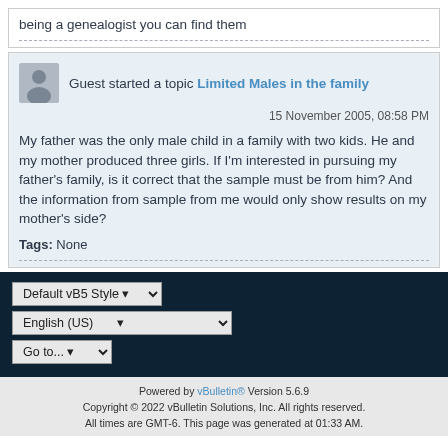being a genealogist you can find them
Guest started a topic Limited Males in the family
15 November 2005, 08:58 PM
My father was the only male child in a family with two kids. He and my mother produced three girls. If I'm interested in pursuing my father's family, is it correct that the sample must be from him? And the information from sample from me would only show results on my mother's side?
Tags: None
Powered by vBulletin® Version 5.6.9 Copyright © 2022 vBulletin Solutions, Inc. All rights reserved. All times are GMT-6. This page was generated at 01:33 AM.